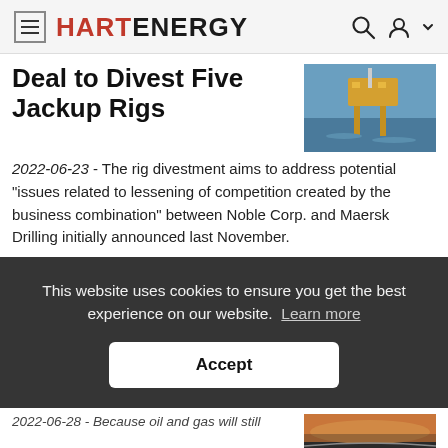HART ENERGY
Deal to Divest Five Jackup Rigs
2022-06-23 - The rig divestment aims to address potential “issues related to lessening of competition created by the business combination” between Noble Corp. and Maersk Drilling initially announced last November.
This website uses cookies to ensure you get the best experience on our website. Learn more
Accept
2022-06-28 - Because oil and gas will still